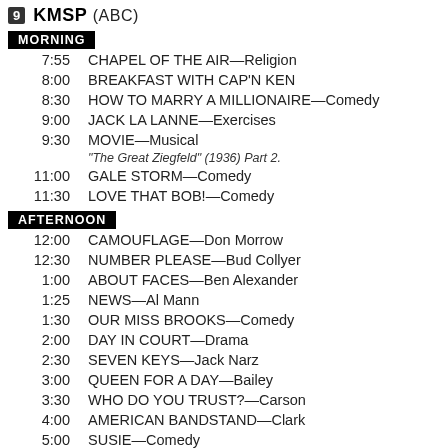9 KMSP (ABC)
MORNING
7:55   CHAPEL OF THE AIR—Religion
8:00   BREAKFAST WITH CAP'N KEN
8:30   HOW TO MARRY A MILLIONAIRE—Comedy
9:00   JACK LA LANNE—Exercises
9:30   MOVIE—Musical
"The Great Ziegfeld" (1936) Part 2.
11:00   GALE STORM—Comedy
11:30   LOVE THAT BOB!—Comedy
AFTERNOON
12:00   CAMOUFLAGE—Don Morrow
12:30   NUMBER PLEASE—Bud Collyer
1:00   ABOUT FACES—Ben Alexander
1:25   NEWS—Al Mann
1:30   OUR MISS BROOKS—Comedy
2:00   DAY IN COURT—Drama
2:30   SEVEN KEYS—Jack Narz
3:00   QUEEN FOR A DAY—Bailey
3:30   WHO DO YOU TRUST?—Carson
4:00   AMERICAN BANDSTAND—Clark
5:00   SUSIE—Comedy
5:30   ROCKY AND HIS FRIENDS